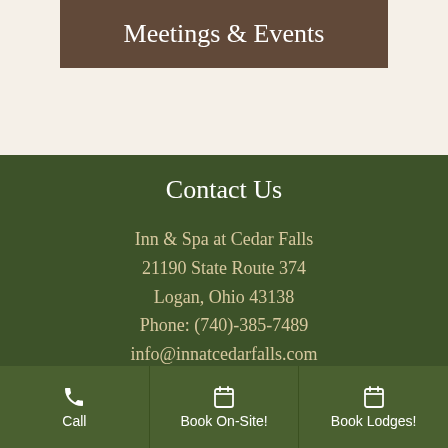[Figure (photo): Banner image with dark background showing 'Meetings & Events' text overlay]
Meetings & Events
Contact Us
Inn & Spa at Cedar Falls
21190 State Route 374
Logan, Ohio 43138
Phone: (740)-385-7489
info@innatcedarfalls.com
[Figure (infographic): Social media icons: Facebook, Twitter, Google+, YouTube, Pinterest, Instagram, TripAdvisor, and a scroll-to-top arrow button]
Useful Links (partial)
Call | Book On-Site! | Book Lodges!